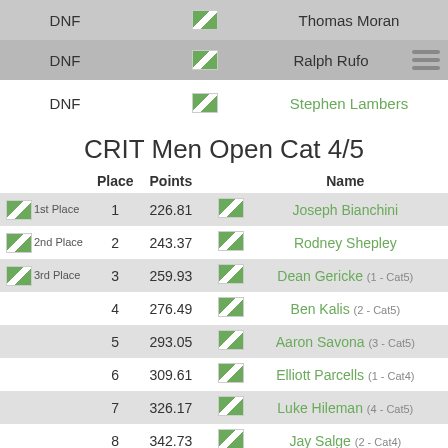|  | DNF |  | Name |
| --- | --- | --- | --- |
|  | DNF |  | Thomas Moran |
|  | DNF |  | Ralph Rufo |
|  | DNF |  | Stephen Lambers |
CRIT Men Open Cat 4/5
| Place | Points |  | Name |
| --- | --- | --- | --- |
| 1st Place | 1 | 226.81 | Joseph Bianchini |
| 2nd Place | 2 | 243.37 | Rodney Shepley |
| 3rd Place | 3 | 259.93 | Dean Gericke (1 - Cat5) |
|  | 4 | 276.49 | Ben Kalis (2 - Cat5) |
|  | 5 | 293.05 | Aaron Savona (3 - Cat5) |
|  | 6 | 309.61 | Elliott Parcells (1 - Cat4) |
|  | 7 | 326.17 | Luke Hileman (4 - Cat5) |
|  | 8 | 342.73 | Jay Salge (2 - Cat4) |
|  | 9 | 359.29 | Kyle Cooper (5 - Cat5) |
|  | 10 | 375.85 | James Mazey (3 - Cat4) |
|  | 11 | 392.41 | Joseph Clark (6 - Cat5) |